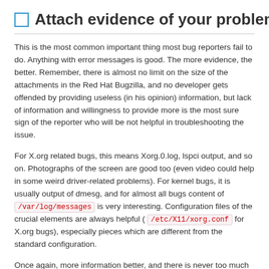☐ Attach evidence of your problem
This is the most common important thing most bug reporters fail to do. Anything with error messages is good. The more evidence, the better. Remember, there is almost no limit on the size of the attachments in the Red Hat Bugzilla, and no developer gets offended by providing useless (in his opinion) information, but lack of information and willingness to provide more is the most sure sign of the reporter who will be not helpful in troubleshooting the issue.
For X.org related bugs, this means Xorg.0.log, lspci output, and so on. Photographs of the screen are good too (even video could help in some weird driver-related problems). For kernel bugs, it is usually output of dmesg, and for almost all bugs content of /var/log/messages is very interesting. Configuration files of the crucial elements are always helpful ( /etc/X11/xorg.conf for X.org bugs), especially pieces which are different from the standard configuration.
Once again, more information better, and there is never too much information provided for the bug.